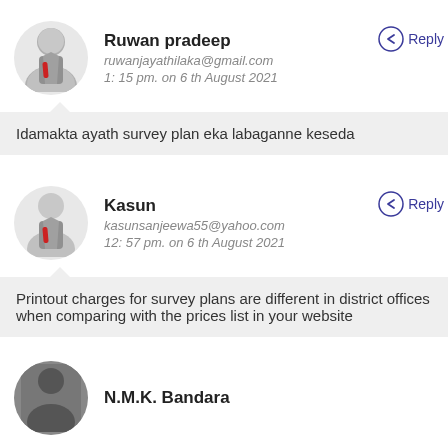Ruwan pradeep
ruwanjayathilaka@gmail.com
1: 15 pm. on 6 th August 2021
Reply
Idamakta ayath survey plan eka labaganne keseda
Kasun
kasunsanjeewa55@yahoo.com
12: 57 pm. on 6 th August 2021
Reply
Printout charges for survey plans are different in district offices when comparing with the prices list in your website
N.M.K. Bandara